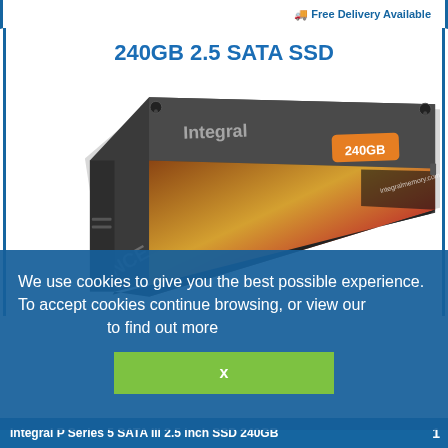Free Delivery Available
240GB 2.5 SATA SSD
[Figure (photo): Integral 240GB 2.5 SATA SSD product photo showing the drive at an angle with orange 240GB label and Integral branding]
We use cookies to give you the best possible experience. To accept cookies continue browsing, or view our [cookie policy] to find out more
x
Integral P Series 5 SATA III 2.5 inch SSD 240GB   1